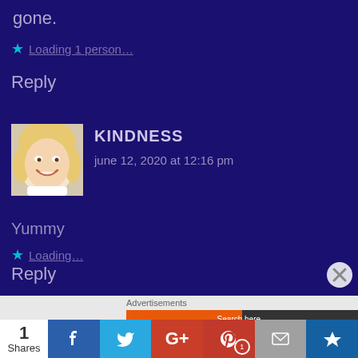gone.
★ Loading 1 person…
Reply
[Figure (photo): Avatar photo of commenter named KINDNESS — a smiling blonde woman]
KINDNESS
june 12, 2020 at 12:16 pm
Yummy
★ Loading…
Reply
Advertisements
1 Shares  Facebook  Twitter  Google+  Pinterest 1  Email  Crown